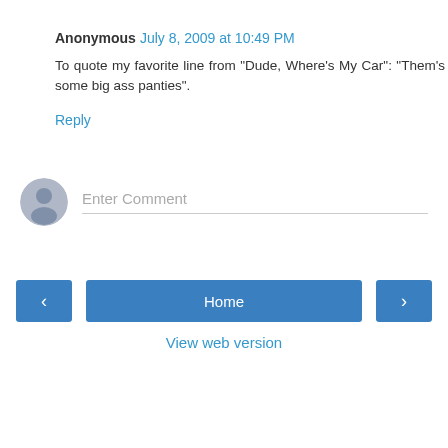Anonymous  July 8, 2009 at 10:49 PM
To quote my favorite line from "Dude, Where's My Car": "Them's some big ass panties".
Reply
[Figure (other): User avatar placeholder icon (grey circle with person silhouette) next to Enter Comment input field]
< Home > View web version